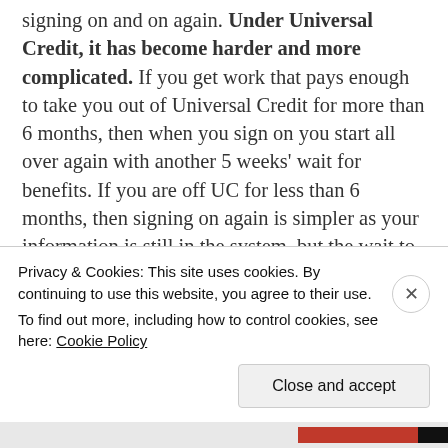signing on and on again. Under Universal Credit, it has become harder and more complicated. If you get work that pays enough to take you out of Universal Credit for more than 6 months, then when you sign on you start all over again with another 5 weeks' wait for benefits. If you are off UC for less than 6 months, then signing on again is simpler as your information is still in the system, but the wait to get your first benefit payment can be considerably worse. You keep the same assessment period as you had previously: so if
Privacy & Cookies: This site uses cookies. By continuing to use this website, you agree to their use.
To find out more, including how to control cookies, see here: Cookie Policy
Close and accept